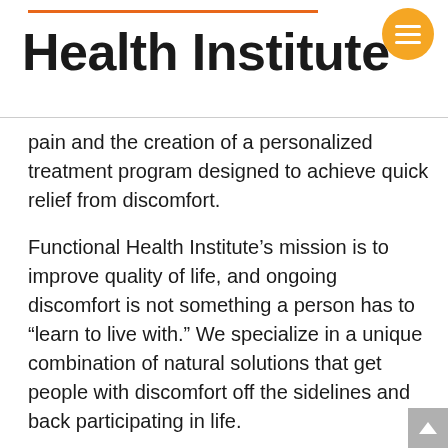Health Institute
pain and the creation of a personalized treatment program designed to achieve quick relief from discomfort.
Functional Health Institute’s mission is to improve quality of life, and ongoing discomfort is not something a person has to “learn to live with.” We specialize in a unique combination of natural solutions that get people with discomfort off the sidelines and back participating in life.
Dr. Kingsbury, DC is certified through the Disc Centers of America. This advanced certification is given by the International advisory board on spinal decompression.